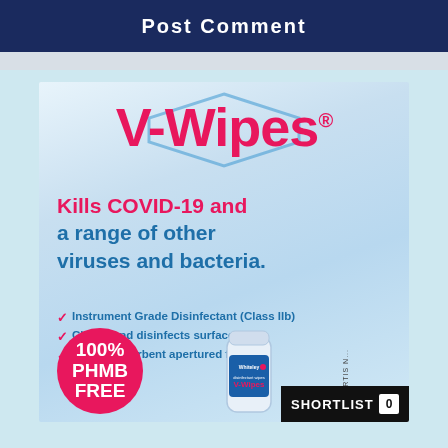Post Comment
[Figure (illustration): V-Wipes product advertisement showing brand logo in pink on a light blue metallic background with a hexagonal shape. Text reads 'Kills COVID-19 and a range of other viruses and bacteria.' with three bullet points: 'Instrument Grade Disinfectant (Class IIb)', 'Cleans and disinfects surfaces', 'Highly absorbent apertured fabric'. A pink circle badge reads '100% PHMB FREE'. A product canister is shown. Bottom right has a 'SHORTLIST 0' bar.]